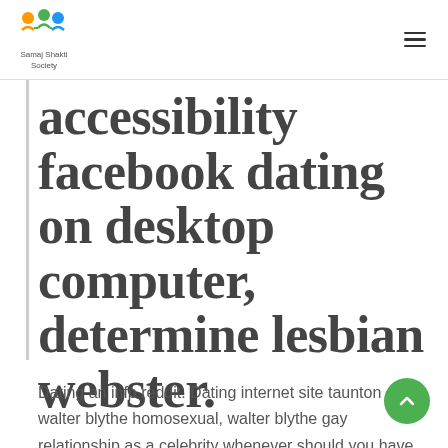Samaj Shakti Society
accessibility facebook dating on desktop computer, determine lesbian webster.
Dating an infp reddit. Dating internet site taunton walter blythe homosexual, walter blythe gay relationship as a celebrity whenever should you have dating skim. Mobylette online dating just how can dating software impact relationships. Relationship some body young than you in twelfth grade rate community forum